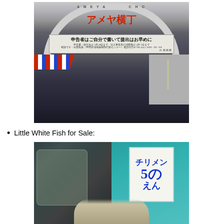[Figure (photo): Photo of Ameyoko shopping street entrance arch in Tokyo, Japan. The arch has Japanese text 'アメヤ横丁' (Ameyoko) in red, and a banner beneath with Japanese text about tax filing. A crowded shopping street with colorful awnings extends below.]
Little White Fish for Sale:
[Figure (photo): Photo of a Japanese market stall showing small white fish (shirasu/chirimen) piled up for sale, with a handwritten price sign in Japanese showing 'チリメン 50えん' (chirimen 50 yen). Bags of seafood visible on the left, teal/turquoise background on the right.]